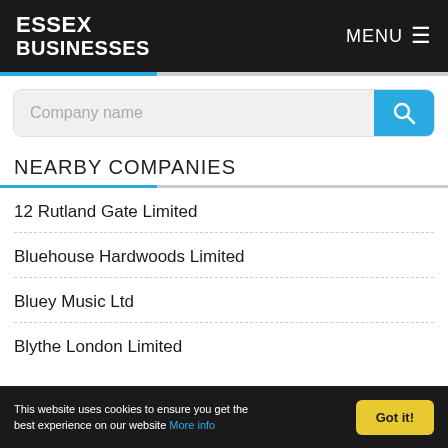ESSEX BUSINESSES
[Figure (screenshot): Search bar with placeholder text 'Company name' and a blue search button with magnifying glass icon]
NEARBY COMPANIES
12 Rutland Gate Limited
Bluehouse Hardwoods Limited
Bluey Music Ltd
Blythe London Limited
This website uses cookies to ensure you get the best experience on our website More info  Got it!